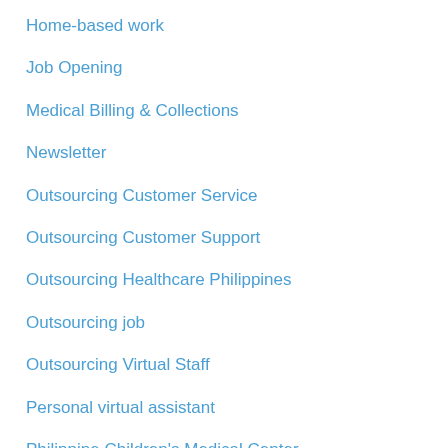Home-based work
Job Opening
Medical Billing & Collections
Newsletter
Outsourcing Customer Service
Outsourcing Customer Support
Outsourcing Healthcare Philippines
Outsourcing job
Outsourcing Virtual Staff
Personal virtual assistant
Philippine Children's Medical Center
Philippines